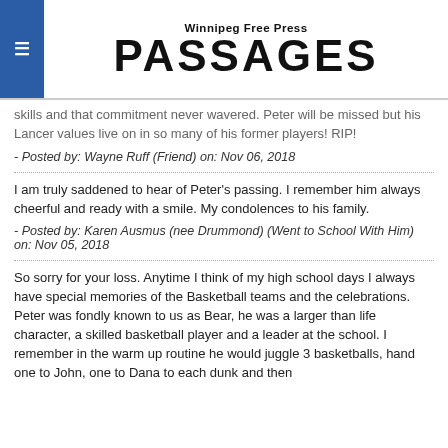Winnipeg Free Press PASSAGES
skills and that commitment never wavered. Peter will be missed but his Lancer values live on in so many of his former players! RIP!
- Posted by: Wayne Ruff (Friend) on: Nov 06, 2018
I am truly saddened to hear of Peter's passing. I remember him always cheerful and ready with a smile. My condolences to his family.
- Posted by: Karen Ausmus (nee Drummond) (Went to School With Him) on: Nov 05, 2018
So sorry for your loss. Anytime I think of my high school days I always have special memories of the Basketball teams and the celebrations. Peter was fondly known to us as Bear, he was a larger than life character, a skilled basketball player and a leader at the school. I remember in the warm up routine he would juggle 3 basketballs, hand one to John, one to Dana to each dunk and then